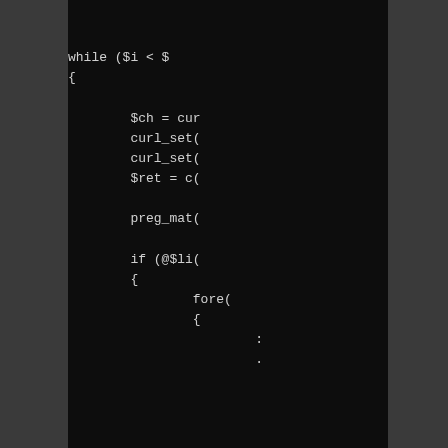[Figure (screenshot): Dark-themed code editor screenshot showing PHP code with a while loop, curl operations, preg_match call, and a foreach loop. Code is partially cropped on the right side.]